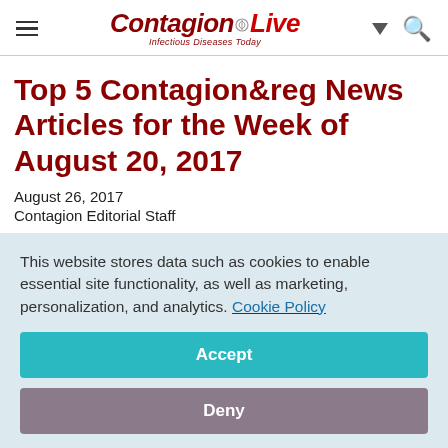Contagion Live - Infectious Diseases Today
Top 5 Contagion®reg News Articles for the Week of August 20, 2017
August 26, 2017
Contagion Editorial Staff
[Figure (infographic): Social share buttons: Facebook, Twitter, LinkedIn, Pinterest, Email]
This website stores data such as cookies to enable essential site functionality, as well as marketing, personalization, and analytics. Cookie Policy
Accept
Deny